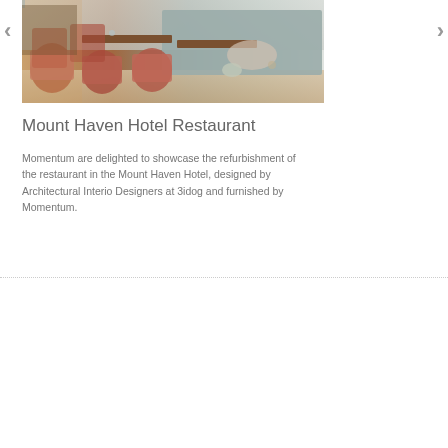[Figure (photo): Interior photo of Mount Haven Hotel Restaurant showing dining tables with wooden tops, upholstered chairs in patterned fabric, booth seating with grey upholstery, and restaurant interior with warm lighting.]
Mount Haven Hotel Restaurant
Momentum are delighted to showcase the refurbishment of the restaurant in the Mount Haven Hotel, designed by Architectural Interio Designers at 3idog and furnished by Momentum.